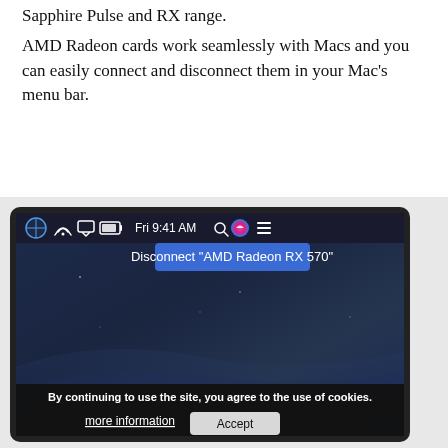Sapphire Pulse and RX range.
AMD Radeon cards work seamlessly with Macs and you can easily connect and disconnect them in your Mac's menu bar.
[Figure (screenshot): A macOS screenshot showing a Mac desktop with the menu bar visible at the top. A dropdown menu shows 'Disconnect "AMD Radeon RX 570"' in blue. At the bottom of the screen, a cookie consent banner reads 'By continuing to use the site, you agree to the use of cookies.' with 'more information' and 'Accept' buttons.]